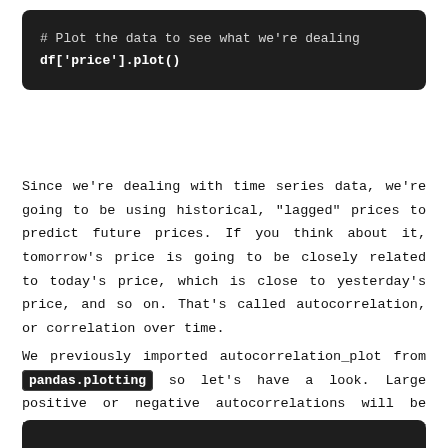[Figure (screenshot): Dark-themed code block showing: '# Plot the data to see what we're dealing' and 'df['price'].plot()']
Since we're dealing with time series data, we're going to be using historical, "lagged" prices to predict future prices. If you think about it, tomorrow's price is going to be closely related to today's price, which is close to yesterday's price, and so on. That's called autocorrelation, or correlation over time.
We previously imported autocorrelation_plot from pandas.plotting so let's have a look. Large positive or negative autocorrelations will be helpful as predictive “features” or “explanatory variables”.
[Figure (screenshot): Bottom dark code block (partially visible)]